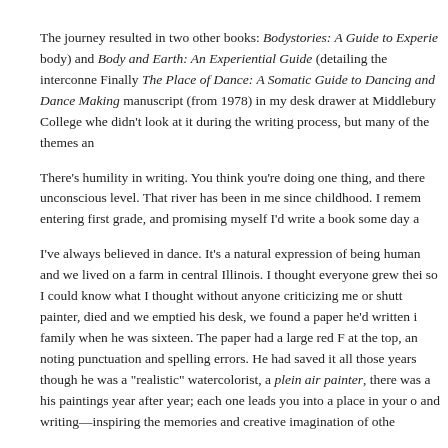The journey resulted in two other books: Bodystories: A Guide to Experie body) and Body and Earth: An Experiential Guide (detailing the interconne Finally The Place of Dance: A Somatic Guide to Dancing and Dance Making manuscript (from 1978) in my desk drawer at Middlebury College whe didn't look at it during the writing process, but many of the themes an
There's humility in writing. You think you're doing one thing, and there unconscious level. That river has been in me since childhood. I remem entering first grade, and promising myself I'd write a book some day a
I've always believed in dance. It's a natural expression of being human and we lived on a farm in central Illinois. I thought everyone grew thei so I could know what I thought without anyone criticizing me or shutt painter, died and we emptied his desk, we found a paper he'd written i family when he was sixteen. The paper had a large red F at the top, an noting punctuation and spelling errors. He had saved it all those years though he was a "realistic" watercolorist, a plein air painter, there was a his paintings year after year; each one leads you into a place in your o and writing—inspiring the memories and creative imagination of othe
Photo by Scotty Hardwig